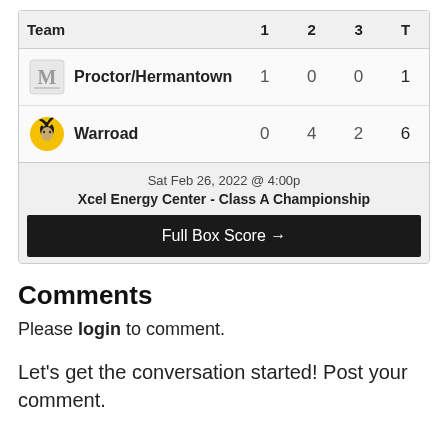| Team | 1 | 2 | 3 | T |
| --- | --- | --- | --- | --- |
| Proctor/Hermantown | 1 | 0 | 0 | 1 |
| Warroad | 0 | 4 | 2 | 6 |
Sat Feb 26, 2022 @ 4:00p
Xcel Energy Center - Class A Championship
Full Box Score →
Comments
Please login to comment.
Let's get the conversation started! Post your comment.